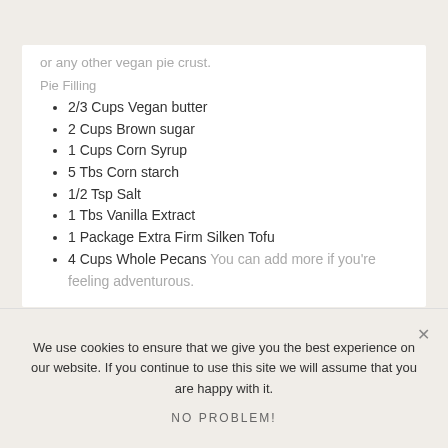or any other vegan pie crust.
Pie Filling
2/3 Cups Vegan butter
2 Cups Brown sugar
1 Cups Corn Syrup
5 Tbs Corn starch
1/2 Tsp Salt
1 Tbs Vanilla Extract
1 Package Extra Firm Silken Tofu
4 Cups Whole Pecans You can add more if you're feeling adventurous.
We use cookies to ensure that we give you the best experience on our website. If you continue to use this site we will assume that you are happy with it.
NO PROBLEM!